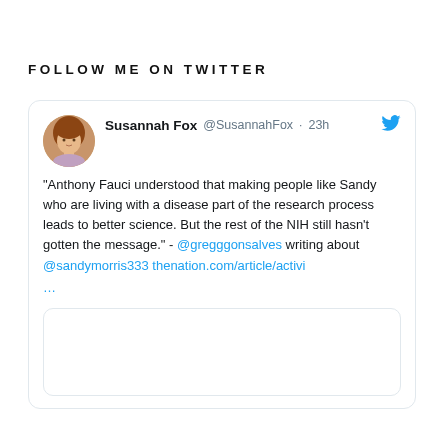FOLLOW ME ON TWITTER
[Figure (screenshot): Embedded tweet from Susannah Fox (@SusannahFox, 23h) with Twitter bird icon. Tweet text: "Anthony Fauci understood that making people like Sandy who are living with a disease part of the research process leads to better science. But the rest of the NIH still hasn't gotten the message." - @gregggonsalves writing about @sandymorris333 thenation.com/article/activi ... followed by a media preview card box.]